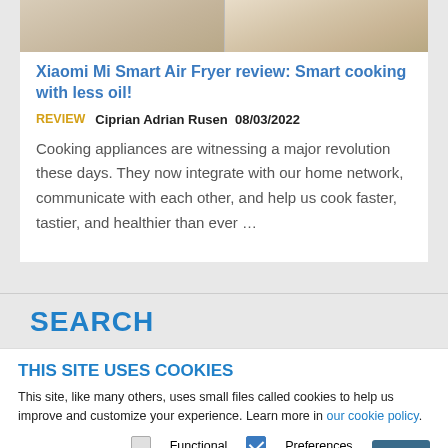[Figure (photo): Two food photos: on the left, a hand holding food over a plate; on the right, a plated dish with fried food and garnish on a white plate.]
Xiaomi Mi Smart Air Fryer review: Smart cooking with less oil!
REVIEW   Ciprian Adrian Rusen   08/03/2022
Cooking appliances are witnessing a major revolution these days. They now integrate with our home network, communicate with each other, and help us cook faster, tastier, and healthier than ever …
SEARCH
THIS SITE USES COOKIES
This site, like many others, uses small files called cookies to help us improve and customize your experience. Learn more in our cookie policy.
Select cookies:  Functional  Preferences  Analytics  Marketing